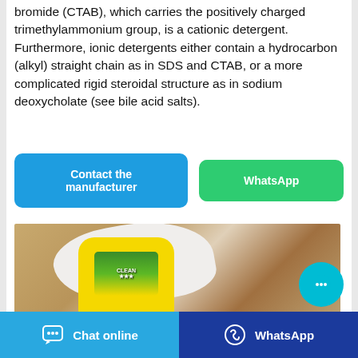bromide (CTAB), which carries the positively charged trimethylammonium group, is a cationic detergent. Furthermore, ionic detergents either contain a hydrocarbon (alkyl) straight chain as in SDS and CTAB, or a more complicated rigid steroidal structure as in sodium deoxycholate (see bile acid salts).
[Figure (other): Two buttons: blue 'Contact the manufacturer' button and green 'WhatsApp' button]
[Figure (photo): Photo of a yellow cleaning product bottle (detergent) on a wooden surface with a white cloth]
[Figure (other): Bottom navigation bar with 'Chat online' (light blue) and 'WhatsApp' (dark blue) buttons]